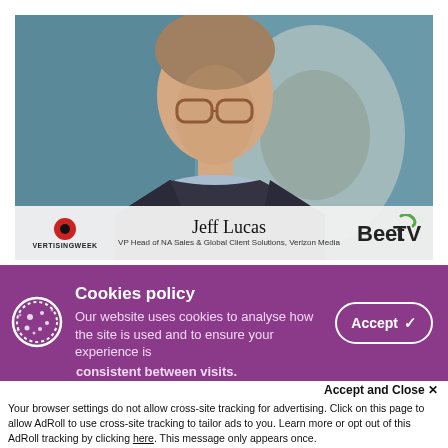[Figure (screenshot): Video thumbnail showing Jeff Lucas, VP Head of NA Sales & Global Client Solutions, Verizon Media. He is a middle-aged man with glasses wearing a dark jacket. The lower bar shows the Advertising Week logo on the left, his name and title in the center, and BeetTV logo on the right.]
Jeff Lucas
VP Head of NA Sales & Global Client Solutions, Verizon Media
Cookies policy
Our website uses cookies to analyse how the site is used and to ensure your experience is
consistent between visits.
Accept and Close ✕
Your browser settings do not allow cross-site tracking for advertising. Click on this page to allow AdRoll to use cross-site tracking to tailor ads to you. Learn more or opt out of this AdRoll tracking by clicking here. This message only appears once.